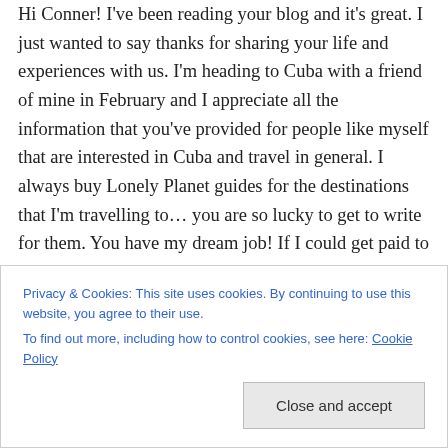Hi Conner! I've been reading your blog and it's great. I just wanted to say thanks for sharing your life and experiences with us. I'm heading to Cuba with a friend of mine in February and I appreciate all the information that you've provided for people like myself that are interested in Cuba and travel in general. I always buy Lonely Planet guides for the destinations that I'm travelling to… you are so lucky to get to write for them. You have my dream job! If I could get paid to travel and write, I would
Privacy & Cookies: This site uses cookies. By continuing to use this website, you agree to their use. To find out more, including how to control cookies, see here: Cookie Policy
Close and accept